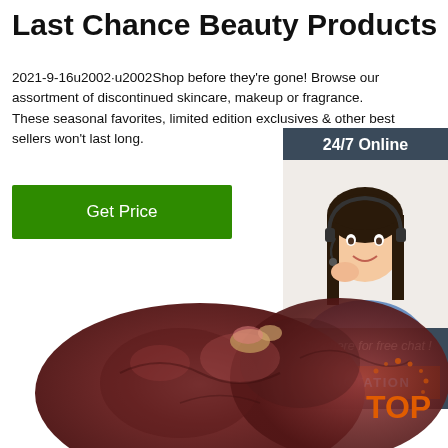Last Chance Beauty Products
2021-9-16u2002·u2002Shop before they're gone! Browse our assortment of discontinued skincare, makeup or fragrance. These seasonal favorites, limited edition exclusives & other best sellers won't last long.
Get Price
[Figure (infographic): Side panel with '24/7 Online' header, photo of a woman with headset (customer service), 'Click here for free chat!' text, and orange 'QUOTATION' button]
[Figure (photo): Raw animal organ (liver) on white background]
[Figure (logo): Orange 'TOP' badge with decorative dots in upper right area]